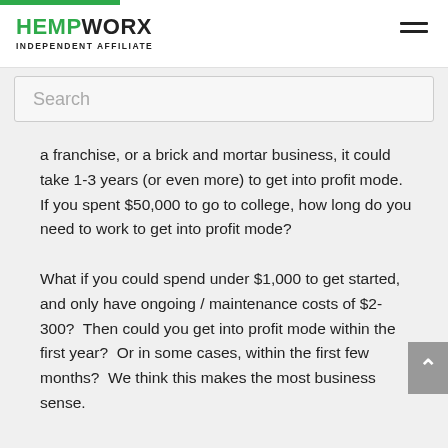HEMPWORX INDEPENDENT AFFILIATE
Search
a franchise, or a brick and mortar business, it could take 1-3 years (or even more) to get into profit mode. If you spent $50,000 to go to college, how long do you need to work to get into profit mode?

What if you could spend under $1,000 to get started, and only have ongoing / maintenance costs of $2-300? Then could you get into profit mode within the first year? Or in some cases, within the first few months? We think this makes the most business sense.